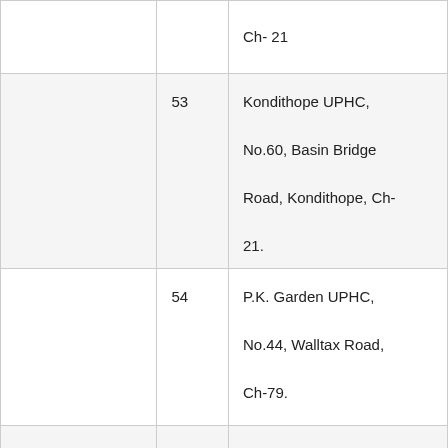|  |  | Ch- 21 |
|  | 53 | Kondithope UPHC, No.60, Basin Bridge Road, Kondithope, Ch-21. |
|  | 54 | P.K. Garden UPHC, No.44, Walltax Road, Ch-79. |
|  | 55 | Seven Wells UPHC, No.69, Amman Koil St, Ch- 1. |
|  |  |  |